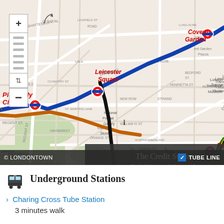[Figure (map): London street map showing tube lines (blue, orange, black, yellow, green) and stations including Leicester Square, Covent Garden, Piccadilly Circus, Embankment. An overlay box reads 'The Credit Suisse Exhibition: Monet & Architecture'. Map footer shows copyright LONDONTOWN and a TUBE LINE legend. Zoom controls visible on left.]
Underground Stations
Charing Cross Tube Station
3 minutes walk